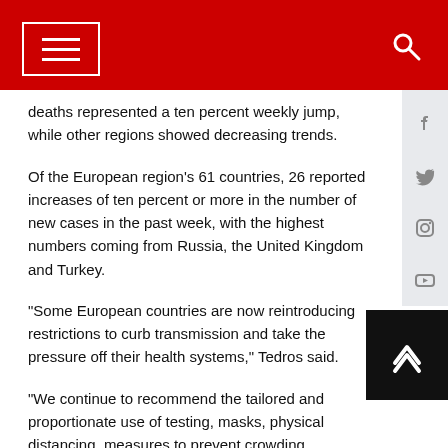News.Az website header with menu and search icons
deaths represented a ten percent weekly jump, while other regions showed decreasing trends.
Of the European region's 61 countries, 26 reported increases of ten percent or more in the number of new cases in the past week, with the highest numbers coming from Russia, the United Kingdom and Turkey.
"Some European countries are now reintroducing restrictions to curb transmission and take the pressure off their health systems," Tedros said.
"We continue to recommend the tailored and proportionate use of testing, masks, physical distancing, measures to prevent crowding, improved ventilation, and more. And get vaccinated when it's your turn. Every country must constantly assess its situation and adjust its approach accordingly," he said.
News.Az